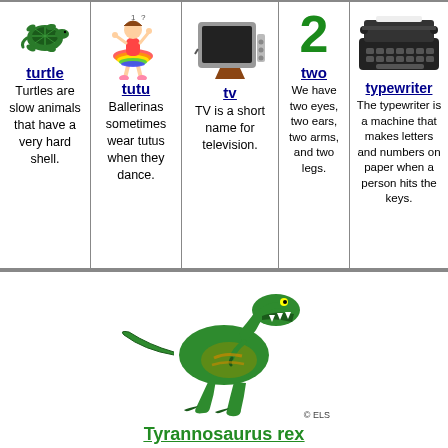[Figure (illustration): Green turtle clipart]
turtle
Turtles are slow animals that have a very hard shell.
[Figure (illustration): Colorful tutu clipart]
tutu
Ballerinas sometimes wear tutus when they dance.
[Figure (illustration): Grey television/TV clipart]
tv
TV is a short name for television.
2
two
We have two eyes, two ears, two arms, and two legs.
[Figure (photo): Black typewriter photo]
typewriter
The typewriter is a machine that makes letters and numbers on paper when a person hits the keys.
[Figure (illustration): Green Tyrannosaurus rex dinosaur clipart]
Tyrannosaurus rex